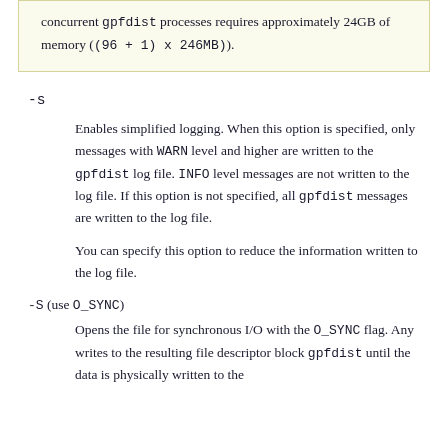concurrent gpfdist processes requires approximately 24GB of memory ((96 + 1) x 246MB).
-s
Enables simplified logging. When this option is specified, only messages with WARN level and higher are written to the gpfdist log file. INFO level messages are not written to the log file. If this option is not specified, all gpfdist messages are written to the log file.
You can specify this option to reduce the information written to the log file.
-S (use O_SYNC)
Opens the file for synchronous I/O with the O_SYNC flag. Any writes to the resulting file descriptor block gpfdist until the data is physically written to the